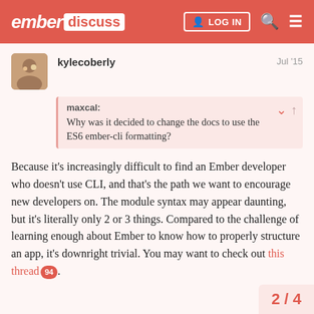ember discuss | LOG IN
kylecoberly     Jul '15
maxcal:
Why was it decided to change the docs to use the ES6 ember-cli formatting?
Because it’s increasingly difficult to find an Ember developer who doesn’t use CLI, and that’s the path we want to encourage new developers on. The module syntax may appear daunting, but it’s literally only 2 or 3 things. Compared to the challenge of learning enough about Ember to know how to properly structure an app, it’s downright trivial. You may want to check out this thread 94.
2 / 4